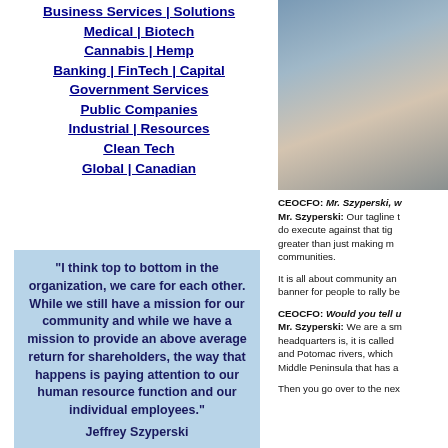Business Services | Solutions
Medical | Biotech
Cannabis  | Hemp
Banking | FinTech | Capital
Government Services
Public Companies
Industrial | Resources
Clean Tech
Global | Canadian
[Figure (photo): Headshot of Jeffrey Szyperski, a man in a dark suit and light blue tie, smiling outdoors]
CEOCFO: Mr. Szyperski, w... Mr. Szyperski: Our tagline t... do execute against that tig... greater than just making m... communities.
It is all about community an... banner for people to rally be...
CEOCFO: Would you tell u... Mr. Szyperski: We are a sm... headquarters is, it is called ... and Potomac rivers, which ... Middle Peninsula that has a...
Then you go over to the nex...
“I think top to bottom in the organization, we care for each other. While we still have a mission for our community and while we have a mission to provide an above average return for shareholders, the way that happens is paying attention to our human resource function and our individual employees.” Jeffrey Szyperski